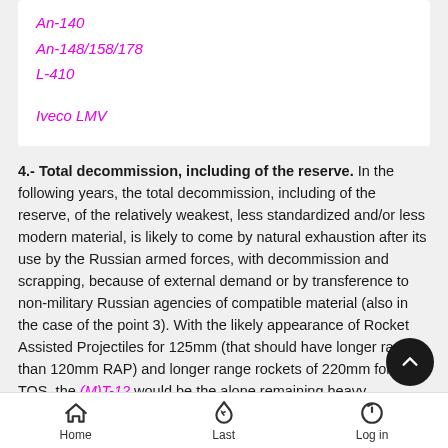An-140
An-148/158/178
L-410
Iveco LMV
4.- Total decommission, including of the reserve. In the following years, the total decommission, including of the reserve, of the relatively weakest, less standardized and/or less modern material, is likely to come by natural exhaustion after its use by the Russian armed forces, with decommission and scrapping, because of external demand or by transference to non-military Russian agencies of compatible material (also in the case of the point 3). With the likely appearance of Rocket Assisted Projectiles for 125mm (that should have longer range than 120mm RAP) and longer range rockets of 220mm for the TOS, the (M)T-12 would be the alone remaining heavy equipment that
Home  Last  Log in